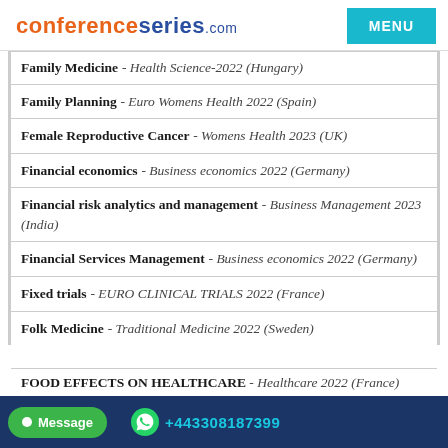conferenceseries.com
Family Medicine - Health Science-2022 (Hungary)
Family Planning - Euro Womens Health 2022 (Spain)
Female Reproductive Cancer - Womens Health 2023 (UK)
Financial economics - Business economics 2022 (Germany)
Financial risk analytics and management - Business Management 2023 (India)
Financial Services Management - Business economics 2022 (Germany)
Fixed trials - EURO CLINICAL TRIALS 2022 (France)
Folk Medicine - Traditional Medicine 2022 (Sweden)
FOOD EFFECTS ON HEALTHCARE - Healthcare 2022 (France)
Message  +443308187399